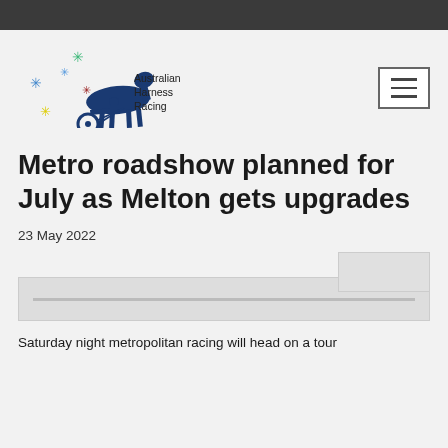[Figure (logo): Australian Harness Racing logo with horse and sulky, colorful stars, and text 'Australian Harness Racing']
Metro roadshow planned for July as Melton gets upgrades
23 May 2022
[Figure (other): Share/social button box]
[Figure (other): Image placeholder with horizontal bar]
Saturday night metropolitan racing will head on a tour